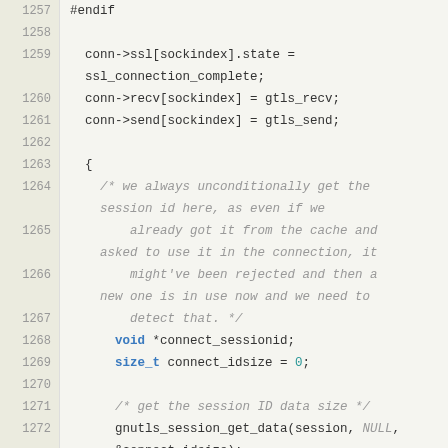[Figure (screenshot): Source code listing showing C code lines 1257-1273, including SSL connection state assignment, recv/send function pointer assignments, and session ID retrieval with gnutls_session_get_data call.]